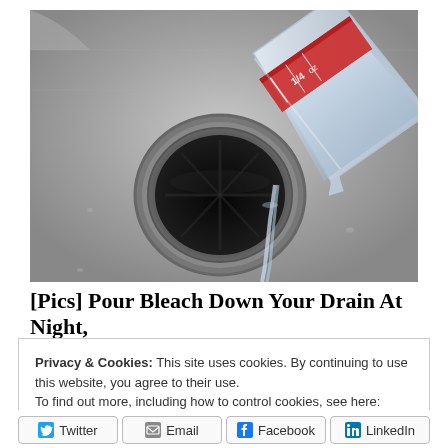[Figure (photo): Close-up photo of liquid being poured from a measuring cup into a kitchen sink drain with garbage disposal. The liquid streams down from the tilted measuring cup (which has red measurement markings) into the dark drain opening. The sink appears to be stainless steel.]
[Pics] Pour Bleach Down Your Drain At Night,
Privacy & Cookies: This site uses cookies. By continuing to use this website, you agree to their use.
To find out more, including how to control cookies, see here: Cookie Policy
Close and accept
Twitter   Email   Facebook   LinkedIn